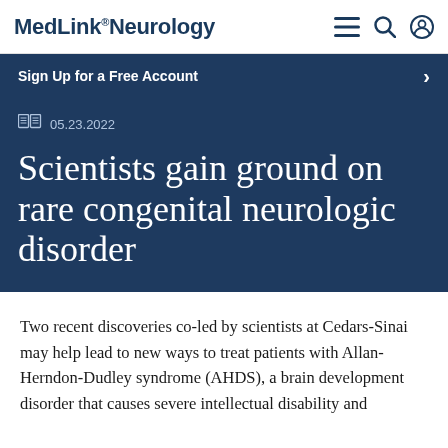MedLink® Neurology
Sign Up for a Free Account
05.23.2022
Scientists gain ground on rare congenital neurologic disorder
Two recent discoveries co-led by scientists at Cedars-Sinai may help lead to new ways to treat patients with Allan-Herndon-Dudley syndrome (AHDS), a brain development disorder that causes severe intellectual disability and